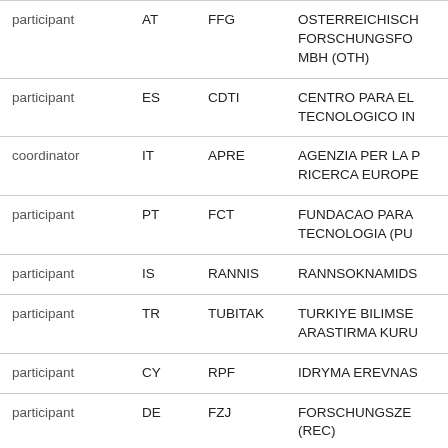| Role | Country | Short Name | Full Name |
| --- | --- | --- | --- |
| participant | AT | FFG | OSTERREICHISCHE FORSCHUNGSFO... MBH (OTH) |
| participant | ES | CDTI | CENTRO PARA EL TECNOLOGICO IN... |
| coordinator | IT | APRE | AGENZIA PER LA P... RICERCA EUROPE... |
| participant | PT | FCT | FUNDACAO PARA... TECNOLOGIA (PU... |
| participant | IS | RANNIS | RANNSOKNAMIDS... |
| participant | TR | TUBITAK | TURKIYE BILIMSE... ARASTIRMA KURU... |
| participant | CY | RPF | IDRYMA EREVNAS... |
| participant | DE | FZJ | FORSCHUNGSZE... (REC) |